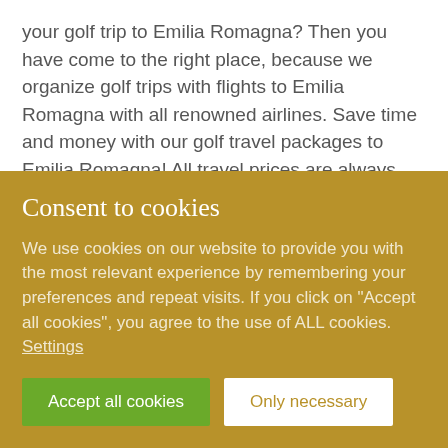your golf trip to Emilia Romagna? Then you have come to the right place, because we organize golf trips with flights to Emilia Romagna with all renowned airlines. Save time and money with our golf travel packages to Emilia Romagna! All travel prices are always shown as final price, including booking fees. During your golf trip to Emilia Romagna you can book green fees at your preferred golf courses, airport transfers including golf baggage transport, car rental, travel insurance,
Consent to cookies
We use cookies on our website to provide you with the most relevant experience by remembering your preferences and repeat visits. If you click on "Accept all cookies", you agree to the use of ALL cookies. Settings
Accept all cookies
Only necessary